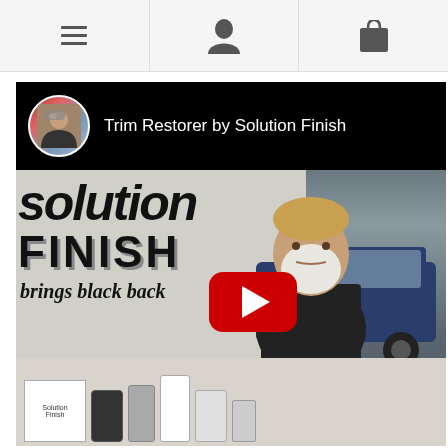Navigation bar with menu, person, and bag icons
[Figure (screenshot): YouTube video thumbnail for 'Trim Restorer by Solution Finish'. Shows a man with white beard standing in front of a Solution Finish banner ('brings black back') with a blue truck and product display table. A YouTube play button is overlaid in the center. The video header shows a circular channel avatar and the title 'Trim Restorer by Solution Finish'.]